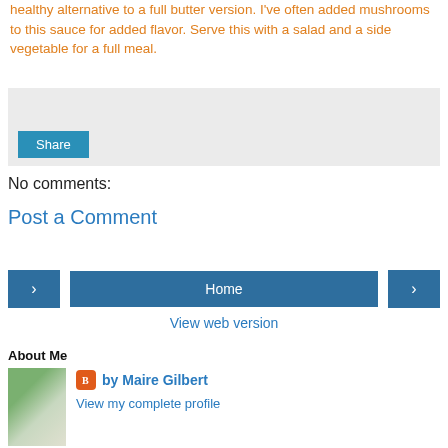healthy alternative to a full butter version. I've often added mushrooms to this sauce for added flavor. Serve this with a salad and a side vegetable for a full meal.
[Figure (other): Social share widget box with a Share button]
No comments:
Post a Comment
[Figure (other): Navigation buttons row: left arrow, Home, right arrow]
View web version
About Me
by Maire Gilbert
View my complete profile